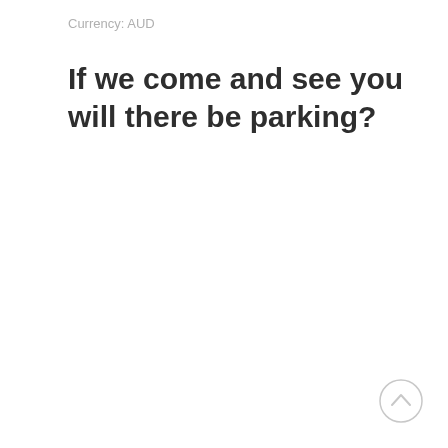Currency: AUD
If we come and see you will there be parking?